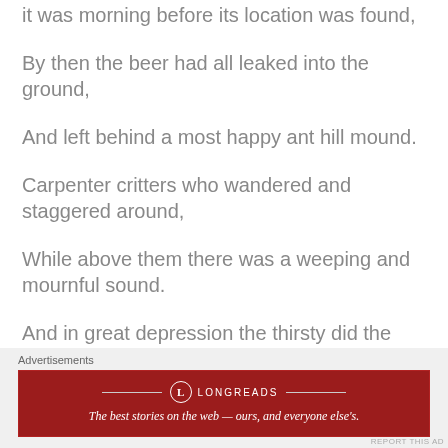it was morning before its location was found,
By then the beer had all leaked into the ground,
And left behind a most happy ant hill mound.
Carpenter critters who wandered and staggered around,
While above them there was a weeping and mournful sound.
And in great depression the thirsty did the earth
Advertisements
[Figure (infographic): Longreads advertisement banner: red background with Longreads logo and tagline 'The best stories on the web — ours, and everyone else's.']